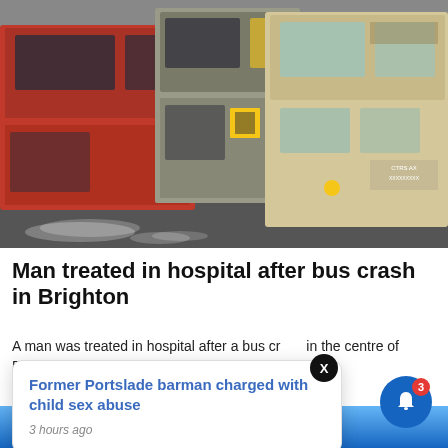[Figure (photo): Photograph of multiple double-decker buses — red London-style buses and a cream/beige bus — lined up in a town centre street]
Man treated in hospital after bus crash in Brighton
A man was treated in hospital after a bus crash in the centre of Brighton (September). Due an...
Former Portslade barman charged with child sex abuse
3 hours ago
[Figure (photo): Bottom strip showing a blue sky with a construction/warning sign roof triangle in orange and yellow]